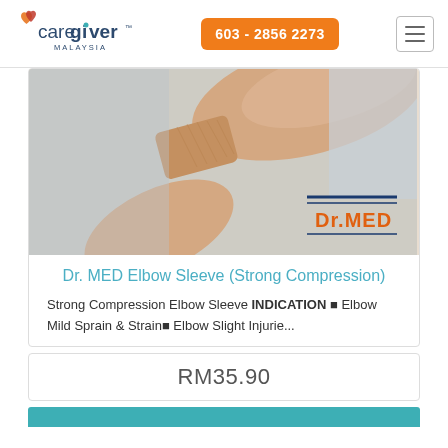[Figure (logo): Caregiver Malaysia logo with orange/red heart icon and teal dot]
603 - 2856 2273
[Figure (photo): Close-up photo of an arm wearing a beige/skin-colored elbow compression sleeve, with Dr. MED brand badge overlay]
Dr. MED Elbow Sleeve (Strong Compression)
Strong Compression Elbow Sleeve INDICATION ▶ Elbow Mild Sprain & Strain▶ Elbow Slight Injurie...
RM35.90